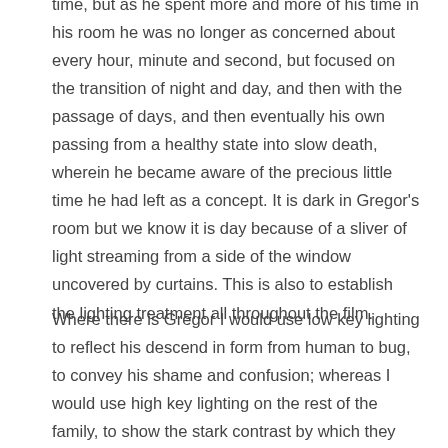to — at the beginning Gregor was very conscious of the time, but as he spent more and more of his time in his room he was no longer as concerned about every hour, minute and second, but focused on the transition of night and day, and then with the passage of days, and then eventually his own passing from a healthy state into slow death, wherein he became aware of the precious little time he had left as a concept. It is dark in Gregor's room but we know it is day because of a sliver of light streaming from a side of the window uncovered by curtains. This is also to establish the lighting treatment all throughout the film.
Where there is Gregor I would use low key lighting to reflect his descend in form from human to bug, to convey his shame and confusion; whereas I would use high key lighting on the rest of the family, to show the stark contrast by which they view themselves from Gregor, and their condescension and